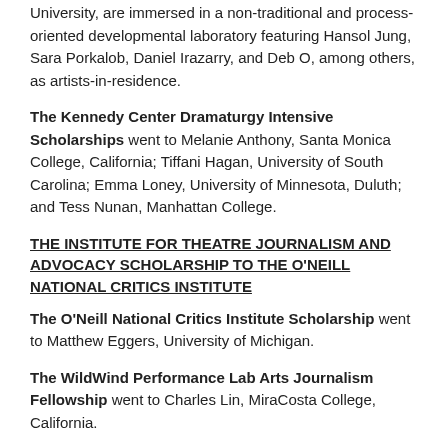University, are immersed in a non-traditional and process-oriented developmental laboratory featuring Hansol Jung, Sara Porkalob, Daniel Irazarry, and Deb O, among others, as artists-in-residence.
The Kennedy Center Dramaturgy Intensive Scholarships went to Melanie Anthony, Santa Monica College, California; Tiffani Hagan, University of South Carolina; Emma Loney, University of Minnesota, Duluth; and Tess Nunan, Manhattan College.
THE INSTITUTE FOR THEATRE JOURNALISM AND ADVOCACY SCHOLARSHIP TO THE O'NEILL NATIONAL CRITICS INSTITUTE
The O'Neill National Critics Institute Scholarship went to Matthew Eggers, University of Michigan.
The WildWind Performance Lab Arts Journalism Fellowship went to Charles Lin, MiraCosta College, California.